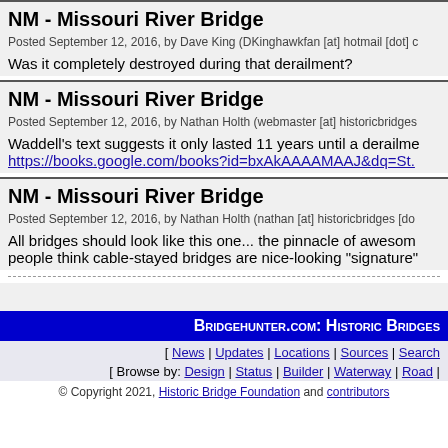NM - Missouri River Bridge
Posted September 12, 2016, by Dave King (DKinghawkfan [at] hotmail [dot] c
Was it completely destroyed during that derailment?
NM - Missouri River Bridge
Posted September 12, 2016, by Nathan Holth (webmaster [at] historicbridges
Waddell's text suggests it only lasted 11 years until a derailme
https://books.google.com/books?id=bxAkAAAAMAAJ&dq=St.
NM - Missouri River Bridge
Posted September 12, 2016, by Nathan Holth (nathan [at] historicbridges [do
All bridges should look like this one... the pinnacle of awesom people think cable-stayed bridges are nice-looking "signature"
BRIDGEHUNTER.COM: HISTORIC BRIDGES
[ News | Updates | Locations | Sources | Search
[ Browse by: Design | Status | Builder | Waterway | Road |
© Copyright 2021, Historic Bridge Foundation and contributors